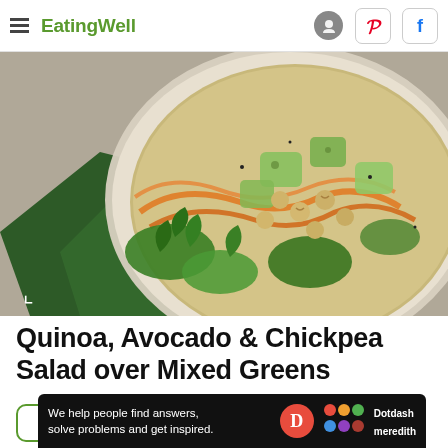EatingWell
[Figure (photo): Overhead shot of a bowl of quinoa, avocado and chickpea salad over mixed greens with shredded carrots, parsley, and other vegetables on a dark green napkin]
Quinoa, Avocado & Chickpea Salad over Mixed Greens
[Figure (other): Partial green rounded rectangle box at bottom of page]
We help people find answers, solve problems and get inspired.
[Figure (logo): Dotdash Meredith logo on dark ad banner]